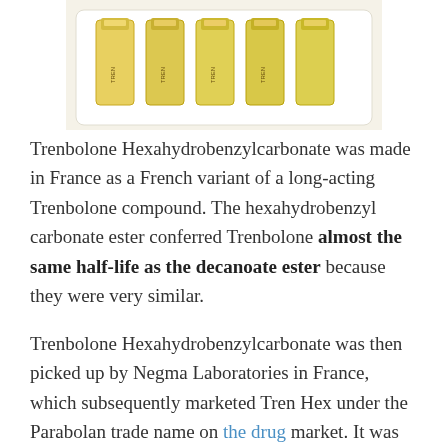[Figure (photo): Pharmaceutical ampules/vials in a white tray, partially visible at top of page]
Trenbolone Hexahydrobenzylcarbonate was made in France as a French variant of a long-acting Trenbolone compound. The hexahydrobenzyl carbonate ester conferred Trenbolone almost the same half-life as the decanoate ester because they were very similar.
Trenbolone Hexahydrobenzylcarbonate was then picked up by Negma Laboratories in France, which subsequently marketed Tren Hex under the Parabolan trade name on the drug market. It was also sold under the name Hexabolan, which was less well known at the time.
Trenbolone in the form of trenbolone-